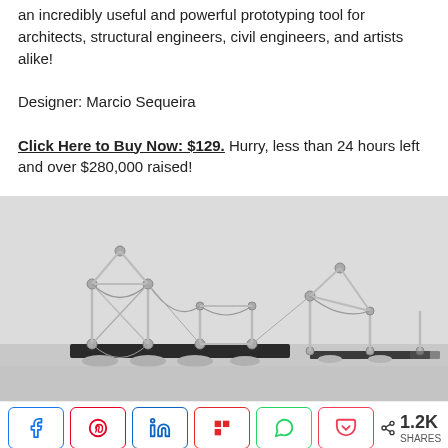an incredibly useful and powerful prototyping tool for architects, structural engineers, civil engineers, and artists alike!

Designer: Marcio Sequeira

Click Here to Buy Now: $129. Hurry, less than 24 hours left and over $280,000 raised!
[Figure (photo): A structural model/prototype made of metal rods, cables, and joints forming bridge-like arch structures on a dark base plate, photographed on a light grey surface.]
< 1.2K SHARES